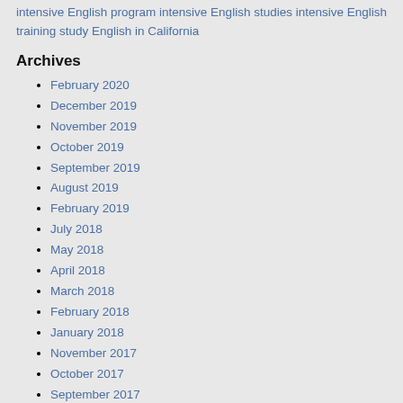intensive English program intensive English studies intensive English training study English in California
Archives
February 2020
December 2019
November 2019
October 2019
September 2019
August 2019
February 2019
July 2018
May 2018
April 2018
March 2018
February 2018
January 2018
November 2017
October 2017
September 2017
August 2017
July 2017
June 2017
May 2017